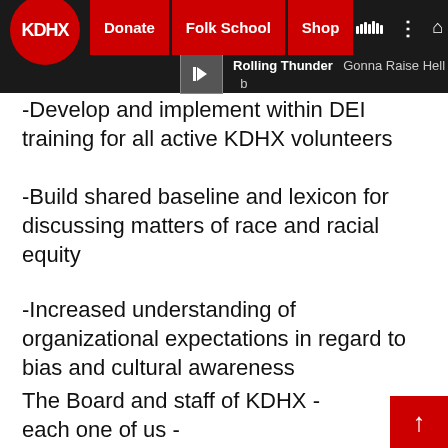KDHX | Donate | Folk School | Shop | Rolling Thunder - Gonna Raise Hell
-Develop and implement within DEI training for all active KDHX volunteers
-Build shared baseline and lexicon for discussing matters of race and racial equity
-Increased understanding of organizational expectations in regard to bias and cultural awareness
The Board and staff of KDHX - each one of us -